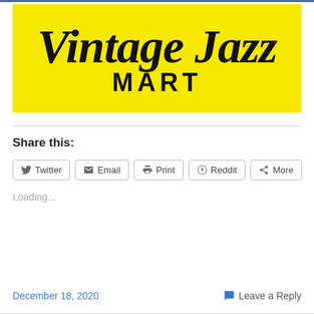[Figure (logo): Vintage Jazz Mart logo on yellow background with bold serif text]
Share this:
Twitter | Email | Print | Reddit | More
Loading...
December 18, 2020
Leave a Reply